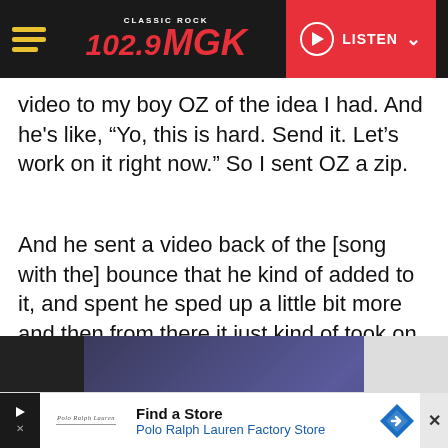102.9 MGK Classic Rock — LISTEN
video to my boy OZ of the idea I had. And he's like, “Yo, this is hard. Send it. Let’s work on it right now.” So I sent OZ a zip.
And he sent a video back of the [song with the] bounce that he kind of added to it, and spent he sped up a little bit more and then from there it just kind of took on a life of its own. So, that’s kind of like a quick breakdown of how we made the beat. It was pretty dope.
[Figure (screenshot): Partial screenshot of a video or image at bottom of article]
[Figure (other): Advertisement banner for Polo Ralph Lauren Factory Store — Find a Store]